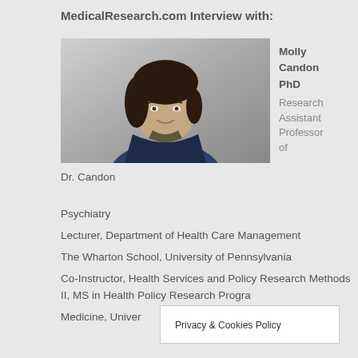MedicalResearch.com Interview with:
[Figure (photo): Headshot photo of Dr. Molly Candon, a woman with dark hair, smiling, wearing a dark jacket]
Dr. Candon
Molly Candon PhD
Research Assistant Professor of Psychiatry
Lecturer, Department of Health Care Management
The Wharton School, University of Pennsylvania
Co-Instructor, Health Services and Policy Research Methods II, MS in Health Policy Research Progra[m]
Medicine, Univer[sity of Pennsylvania]